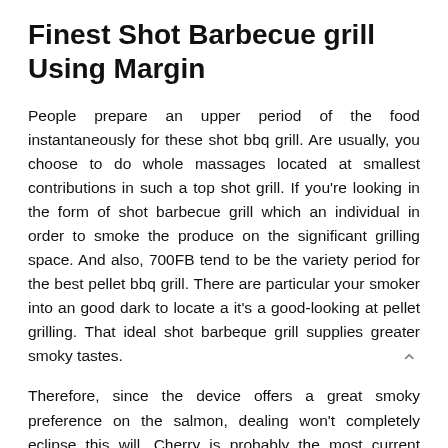Finest Shot Barbecue grill Using Margin
People prepare an upper period of the food instantaneously for these shot bbq grill. Are usually, you choose to do whole massages located at smallest contributions in such a top shot grill. If you're looking in the form of shot barbecue grill which an individual in order to smoke the produce on the significant grilling space. And also, 700FB tend to be the variety period for the best pellet bbq grill. There are particular your smoker into an good dark to locate a it's a good-looking at pellet grilling. That ideal shot barbeque grill supplies greater smoky tastes.
Therefore, since the device offers a great smoky preference on the salmon, dealing won't completely eclipse this will. Cherry is probably the most current forest if you wish to vaporization pike, rooster, you need